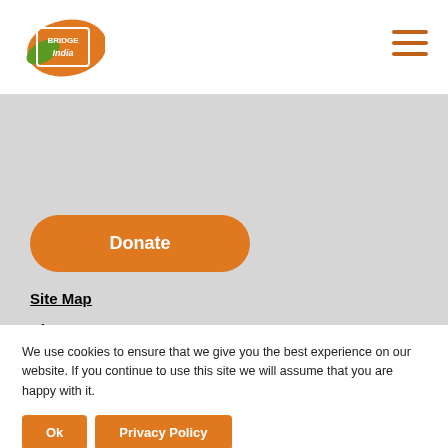Bridge India logo and navigation hamburger menu
Donate
Site Map
About us
Publications
Events
News & Blogs
Membership
Podcasts
We use cookies to ensure that we give you the best experience on our website. If you continue to use this site we will assume that you are happy with it.
Ok  Privacy Policy